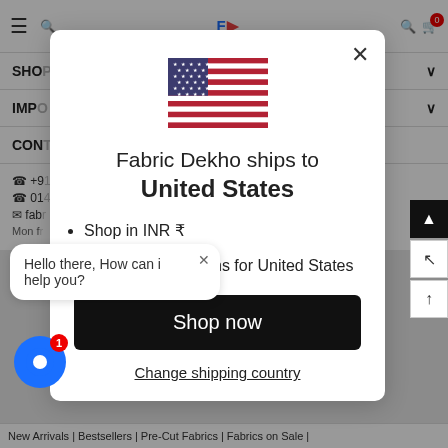[Figure (screenshot): Background of Fabric Dekho e-commerce website with navigation bar, menu items SHOP, IMP, CONT, contact info, and bottom navigation links]
[Figure (screenshot): US flag emoji/icon centered in modal]
Fabric Dekho ships to
United States
Shop in INR ₹
Get shipping options for United States
Shop now
Change shipping country
Hello there, How can i help you?
New Arrivals | Bestsellers | Pre-Cut Fabrics | Fabrics on Sale |